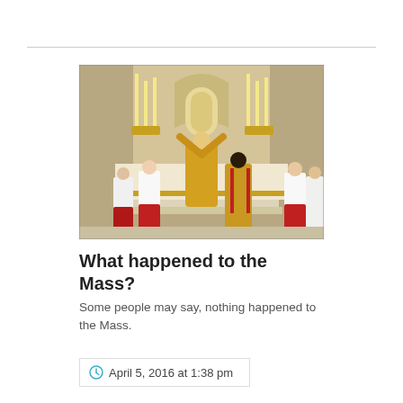[Figure (photo): Catholic Mass ceremony inside an ornate church; priests in golden vestments at the altar with candles and golden candlesticks, altar servers in white and red vestments]
What happened to the Mass?
Some people may say, nothing happened to the Mass.
April 5, 2016 at 1:38 pm